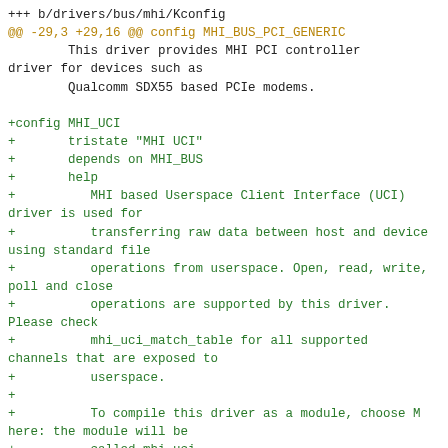Git diff output showing changes to drivers/bus/mhi/Kconfig and drivers/bus/mhi/Makefile, adding MHI_UCI config with tristate, depends, and help text, plus Makefile diff header.